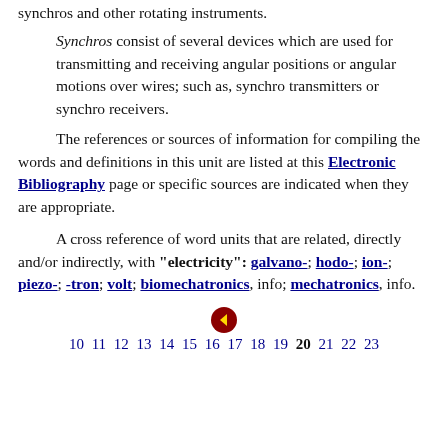synchros and other rotating instruments. Synchros consist of several devices which are used for transmitting and receiving angular positions or angular motions over wires; such as, synchro transmitters or synchro receivers.
The references or sources of information for compiling the words and definitions in this unit are listed at this Electronic Bibliography page or specific sources are indicated when they are appropriate.
A cross reference of word units that are related, directly and/or indirectly, with "electricity": galvano-; hodo-; ion-; piezo-; -tron; volt; biomechatronics, info; mechatronics, info.
10 11 12 13 14 15 16 17 18 19 20 21 22 23